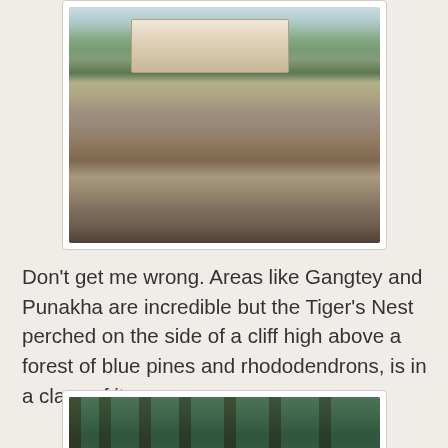[Figure (photo): Tiger's Nest monastery perched on the side of a steep rocky cliff, with white and brown building structures visible at the top, surrounded by green vegetation and trees, with a cloudy sky in the background.]
Don't get me wrong. Areas like Gangtey and Punakha are incredible but the Tiger's Nest perched on the side of a cliff high above a forest of blue pines and rhododendrons, is in a class of its own.
[Figure (photo): A forest of tall blue pine trees photographed from ground level looking up, with light filtering through the canopy, creating a dramatic perspective of the dense forest.]